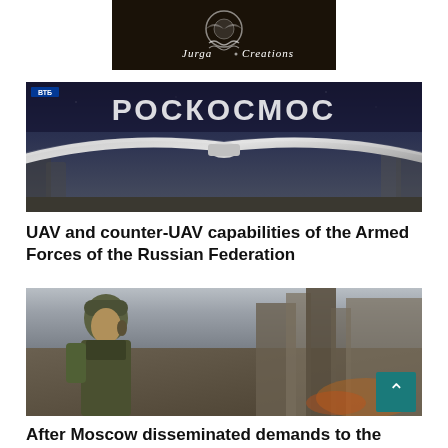[Figure (logo): Jurga Creations logo on dark background with circular emblem]
[Figure (photo): UAV/drone displayed in front of РОСКОСМОС (Roscosmos) banner at an exhibition, with people visible in background]
UAV and counter-UAV capabilities of the Armed Forces of the Russian Federation
[Figure (photo): Soldier in military gear looking at destroyed building rubble, with teal scroll-to-top button overlay]
After Moscow disseminated demands to the